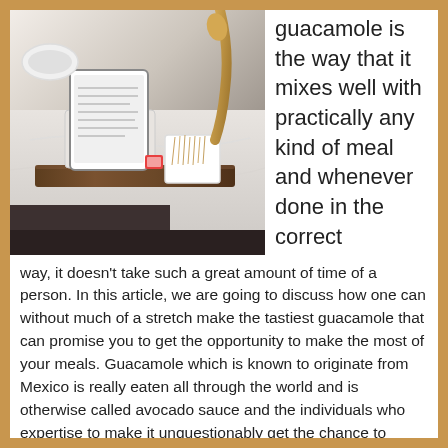[Figure (photo): Kitchen counter with wooden board holding a tablet stand, white ceramic containers with utensils and toothpicks, and a wooden spoon with what appears to be food prep items on a marble surface.]
guacamole is the way that it mixes well with practically any kind of meal and whenever done in the correct way, it doesn't take such a great amount of time of a person. In this article, we are going to discuss how one can without much of a stretch make the tastiest guacamole that can promise you to get the opportunity to make the most of your meals. Guacamole which is known to originate from Mexico is really eaten all through the world and is otherwise called avocado sauce and the individuals who expertise to make it unquestionably get the chance to appreciate it with meals. Before we go straight to this basic guacamole recipe, it is imperative to comprehend that with the goal for you to have the option to make the most of your guacamole it is